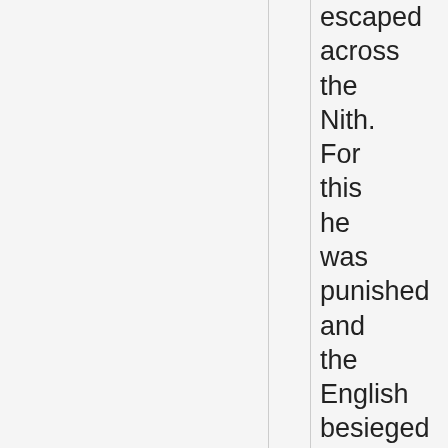escaped across the Nith. For this he was punished and the English besieged and captured